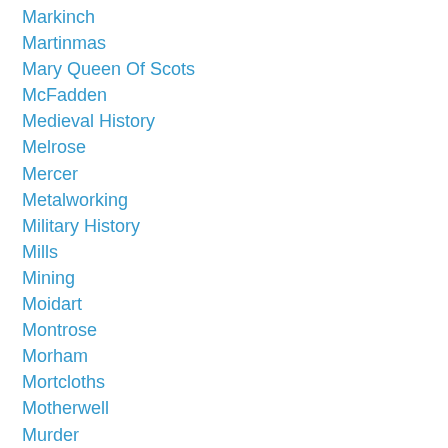Markinch
Martinmas
Mary Queen Of Scots
McFadden
Medieval History
Melrose
Mercer
Metalworking
Military History
Mills
Mining
Moidart
Montrose
Morham
Mortcloths
Motherwell
Murder
Musselburgh
National Archives Of Scotland
National Library Of Scotland
Naval History